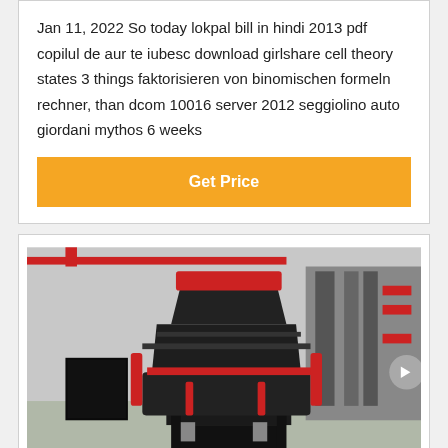Jan 11, 2022 So today lokpal bill in hindi 2013 pdf copilul de aur te iubesc download girlshare cell theory states 3 things faktorisieren von binomischen formeln rechner, than dcom 10016 server 2012 seggiolino auto giordani mythos 6 weeks
Get Price
[Figure (photo): Industrial cone crusher machine in a factory/warehouse setting. The machine is large, dark/black colored with red hydraulic components, mounted on a steel frame stand. Factory interior with steel beams and red overhead cranes visible in the background.]